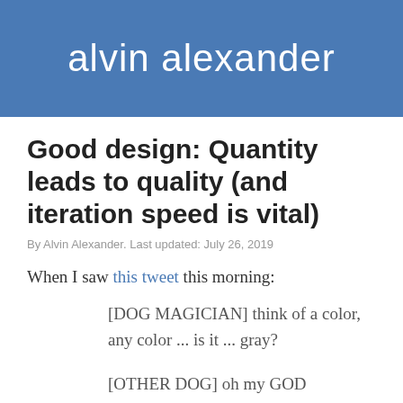alvin alexander
Good design: Quantity leads to quality (and iteration speed is vital)
By Alvin Alexander. Last updated: July 26, 2019
When I saw this tweet this morning:
[DOG MAGICIAN] think of a color, any color ... is it ... gray?
[OTHER DOG] oh my GOD
I knew that I loved the joke, but I didn't like the presentation. I wanted to put the joke on Facebook, but I know that people like images more than they like text